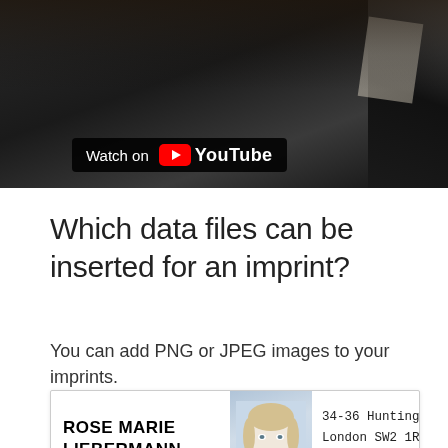[Figure (screenshot): Video thumbnail showing dark desk scene with a 'Watch on YouTube' badge overlay]
Which data files can be inserted for an imprint?
You can add PNG or JPEG images to your imprints.
[Figure (illustration): Imprint card example showing 'ROSE MARIE LIEBERMANN' in bold, a photo of a smiling blonde woman, and address: 34-36 Huntington Rd, London SW2 1RS, rose.marie@mayer.com]